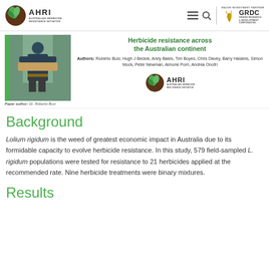AHRI Australian Herbicide Resistance Initiative | MAJOR INVESTMENT PARTNER: GRDC
[Figure (photo): Photo of Dr. Roberto Busi holding a soil tray in a greenhouse setting]
Paper author: Dr. Roberto Busi
Herbicide resistance across the Australian continent
Authors: Roberto Busi, Hugh J Beckie, Andy Bates, Tim Boyes, Chris Davey, Barry Haskins, Simon Mock, Peter Newman, Aimone Porri, Andrea Onofri
[Figure (logo): AHRI Australian Herbicide Resistance Initiative logo]
Background
Lolium rigidum is the weed of greatest economic impact in Australia due to its formidable capacity to evolve herbicide resistance. In this study, 579 field-sampled L. rigidum populations were tested for resistance to 21 herbicides applied at the recommended rate. Nine herbicide treatments were binary mixtures.
Results